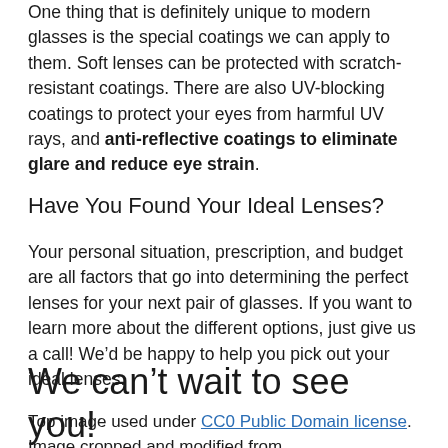One thing that is definitely unique to modern glasses is the special coatings we can apply to them. Soft lenses can be protected with scratch-resistant coatings. There are also UV-blocking coatings to protect your eyes from harmful UV rays, and anti-reflective coatings to eliminate glare and reduce eye strain.
Have You Found Your Ideal Lenses?
Your personal situation, prescription, and budget are all factors that go into determining the perfect lenses for your next pair of glasses. If you want to learn more about the different options, just give us a call! We’d be happy to help you pick out your ideal lenses.
We can’t wait to see you!
Top image used under CC0 Public Domain license. Image cropped and modified from